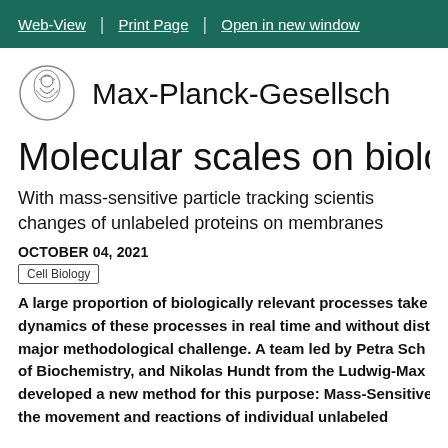Web-View | Print Page | Open in new window
[Figure (logo): Max-Planck-Gesellschaft circular logo with Minerva figure]
Max-Planck-Gesellsch...
Molecular scales on biologi...
With mass-sensitive particle tracking scientis... changes of unlabeled proteins on membranes
OCTOBER 04, 2021
Cell Biology
A large proportion of biologically relevant processes take... dynamics of these processes in real time and without dist... major methodological challenge. A team led by Petra Sch... of Biochemistry, and Nikolas Hundt from the Ludwig-Max... developed a new method for this purpose: Mass-Sensitive... the movement and reactions of individual unlabeled...